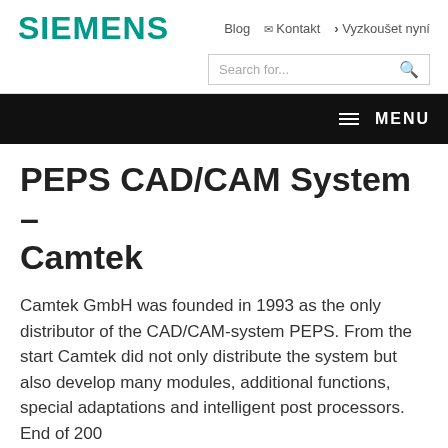SIEMENS
Blog  Kontakt  › Vyzkoušet nyní
Search for...
≡ MENU
PEPS CAD/CAM System – Camtek
Camtek GmbH was founded in 1993 as the only distributor of the CAD/CAM-system PEPS. From the start Camtek did not only distribute the system but also develop many modules, additional functions, special adaptations and intelligent post processors. End of 200